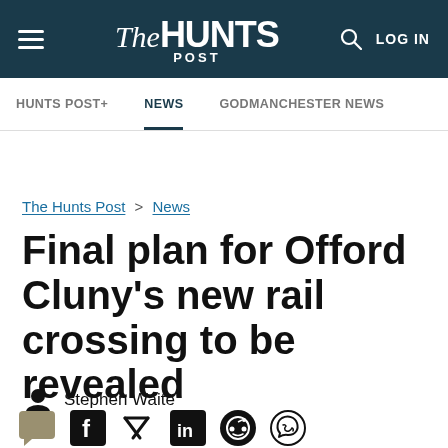The Hunts Post — LOG IN
HUNTS POST+ | NEWS | GODMANCHESTER NEWS
The Hunts Post > News
Final plan for Offord Cluny's new rail crossing to be revealed
Stephen Waite